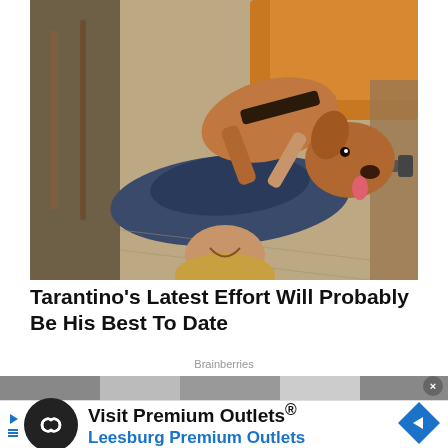[Figure (photo): A person lying on their back on a carpeted floor with a brown/tan pit bull dog standing over them and licking their face. Various furniture items visible in the background including chairs and a couch.]
Tarantino’s Latest Effort Will Probably Be His Best To Date
Brainberries
[Figure (photo): Partially visible image strip at the bottom of the content area]
[Figure (infographic): Advertisement banner: Visit Premium Outlets® Leesburg Premium Outlets, with circular logo showing infinity-like symbol on dark background, and blue navigation arrow icon on right. Left side shows Google Ads arrow icon.]